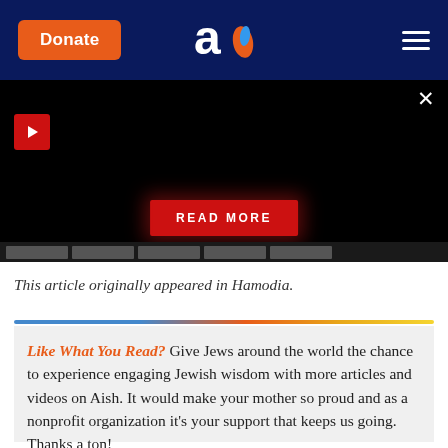Donate | Aish logo | Menu
[Figure (screenshot): Black video panel with red play button in top-left, READ MORE button centered at bottom, close X button top-right, thumbnail strip at bottom]
This article originally appeared in Hamodia.
Like What You Read? Give Jews around the world the chance to experience engaging Jewish wisdom with more articles and videos on Aish. It would make your mother so proud and as a nonprofit organization it's your support that keeps us going. Thanks a ton!